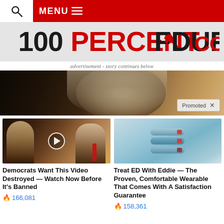MENU
[Figure (logo): 100PERCENTFEDUP.COM logo in distressed bold text, black and red]
advertisement - story continues below
[Figure (photo): Main advertisement banner image showing a blurred elderly figure with white/gray hair. Promoted badge with X close button in bottom right.]
[Figure (photo): Video thumbnail showing two people (woman with dark hair and man in suit with red tie) with a circular play button overlay]
Democrats Want This Video Destroyed — Watch Now Before It's Banned
🔥 166,081
[Figure (photo): Product photo showing light blue silicone wearable bands/bracelets stacked]
Treat ED With Eddie — The Proven, Comfortable Wearable That Comes With A Satisfaction Guarantee
🔥 158,361